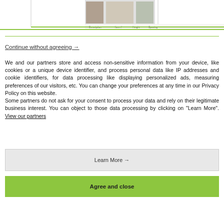[Figure (screenshot): Top portion of a product webpage screenshot showing product images and a table header row, partially visible, with a green bottom border.]
Continue without agreeing →
We and our partners store and access non-sensitive information from your device, like cookies or a unique device identifier, and process personal data like IP addresses and cookie identifiers, for data processing like displaying personalized ads, measuring preferences of our visitors, etc. You can change your preferences at any time in our Privacy Policy on this website.
Some partners do not ask for your consent to process your data and rely on their legitimate business interest. You can object to those data processing by clicking on "Learn More". View our partners
Learn More →
Agree and close